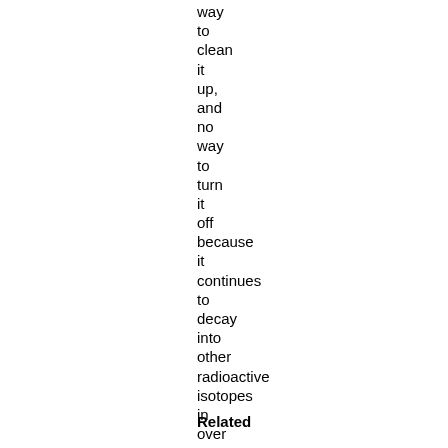way to clean it up, and no way to turn it off because it continues to decay into other radioactive isotopes in over 20 steps.
Related Categories